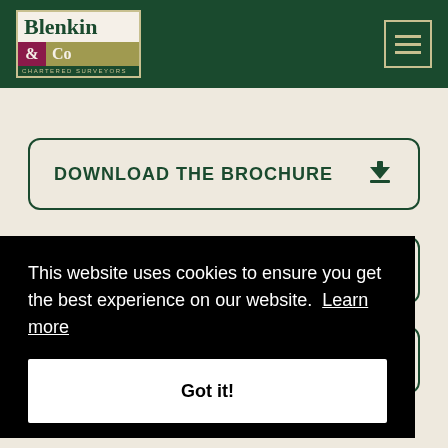[Figure (logo): Blenkin & Co Chartered Surveyors logo on dark green background with hamburger menu icon]
DOWNLOAD THE BROCHURE
This website uses cookies to ensure you get the best experience on our website. Learn more
Got it!